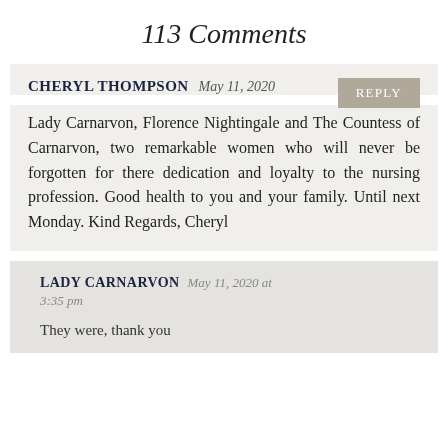113 Comments
CHERYL THOMPSON May 11, 2020
Lady Carnarvon, Florence Nightingale and The Countess of Carnarvon, two remarkable women who will never be forgotten for there dedication and loyalty to the nursing profession. Good health to you and your family. Until next Monday. Kind Regards, Cheryl
LADY CARNARVON May 11, 2020 at 3:35 pm
They were, thank you